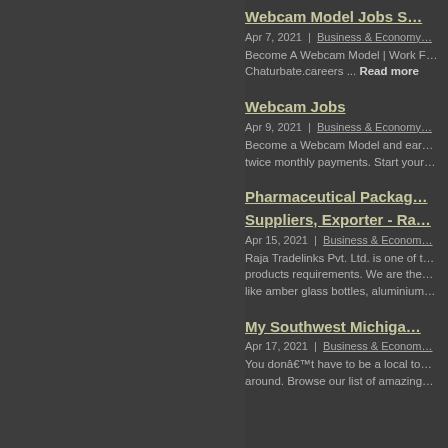Webcam Model Jobs S…
Apr 7, 2021 | Business & Economy…
Become A Webcam Model | Work F… Chaturbate.careers ... Read more
Webcam Jobs
Apr 9, 2021 | Business & Economy…
Become a Webcam Model and ear… twice monthly payments. Start your…
Pharmaceutical Packag… Suppliers, Exporter - Ra…
Apr 15, 2021 | Business & Econom…
Raja Tradelinks Pvt. Ltd. is one of t… products requirements. We are the… like amber glass bottles, aluminium…
My Southwest Michiga…
Apr 17, 2021 | Business & Econom…
You donâ€™t have to be a local to… around. Browse our list of amazing…